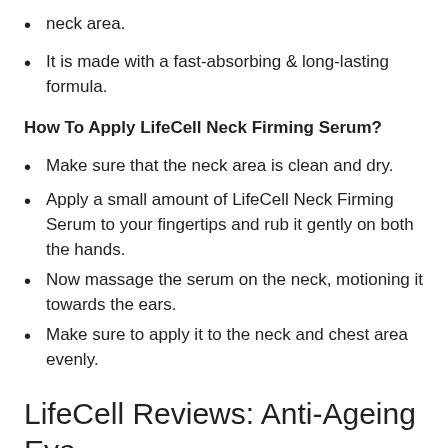neck area.
It is made with a fast-absorbing & long-lasting formula.
How To Apply LifeCell Neck Firming Serum?
Make sure that the neck area is clean and dry.
Apply a small amount of LifeCell Neck Firming Serum to your fingertips and rub it gently on both the hands.
Now massage the serum on the neck, motioning it towards the ears.
Make sure to apply it to the neck and chest area evenly.
LifeCell Reviews: Anti-Ageing Eye Treatment